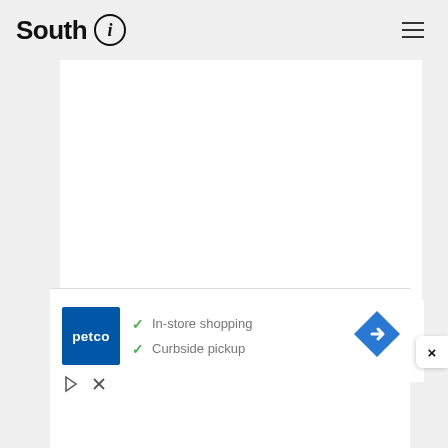South i
[Figure (photo): White rectangular content area placeholder (article image area)]
Kolchak was untenable as a politician and ruler, relying on dreams. First of all, it is worth noting that Kolchak's main goal was the complete destruction of the
[Figure (infographic): Petco advertisement showing in-store shopping and curbside pickup with checkmarks, Petco logo, and navigation arrow icon]